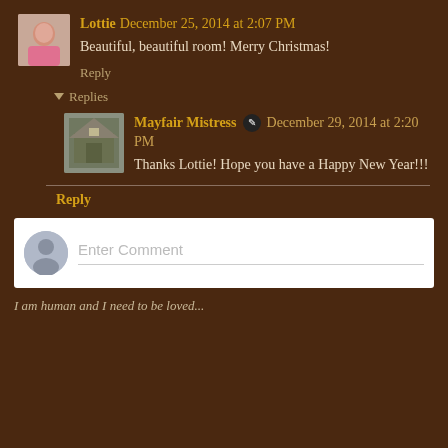Lottie  December 25, 2014 at 2:07 PM
Beautiful, beautiful room! Merry Christmas!
Reply
Replies
Mayfair Mistress  December 29, 2014 at 2:20 PM
Thanks Lottie! Hope you have a Happy New Year!!!
Reply
Enter Comment
I am human and I need to be loved...